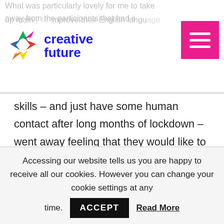What was particularly lovely for me to take away from the participants that had signed up mainly to improve their English language skills – and just have some human contact after long months of lockdown – went away feeling that they would like to take part in some more creative writing opportunities and so I am hoping to continue the work that we started here together and see about developing some more workshops in 2021.
skills – and just have some human contact after long months of lockdown – went away feeling that they would like to take part in some more creative writing opportunities and so I am hoping to continue the work that we started here together and see about developing some more workshops in 2021.
Accessing our website tells us you are happy to receive all our cookies. However you can change your cookie settings at any time. ACCEPT Read More